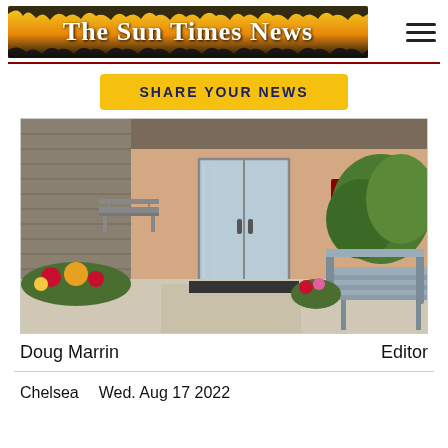The Sun Times News
SHARE YOUR NEWS
[Figure (photo): Exterior entrance of a building with glass double doors, a bench on the left, flower beds with red and yellow flowers, another metal bench on the right, and green shrubs. Concrete walkway leads to the entrance.]
Doug Marrin
Editor
Chelsea
Wed. Aug 17 2022